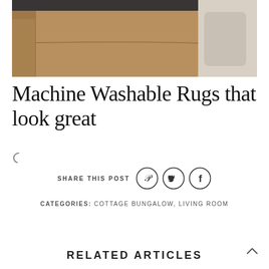[Figure (photo): Close-up of a tan/beige fabric sofa armrest against a light background]
Machine Washable Rugs that look great
[Figure (other): Loading spinner/icon (letter C shape)]
SHARE THIS POST
[Figure (other): Social share icons: Pinterest (P), Twitter (bird), Facebook (f) — three circle buttons]
CATEGORIES: COTTAGE BUNGALOW, LIVING ROOM
RELATED ARTICLES